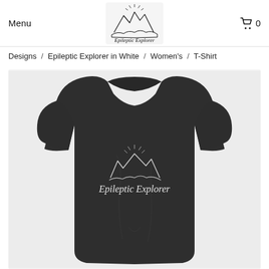Menu | Epileptic Explorer logo | Cart 0
Designs / Epileptic Explorer in White / Women's / T-Shirt
[Figure (photo): Dark charcoal grey women's t-shirt with white Epileptic Explorer mountain logo printed on chest, displayed folded/laid out on white background]